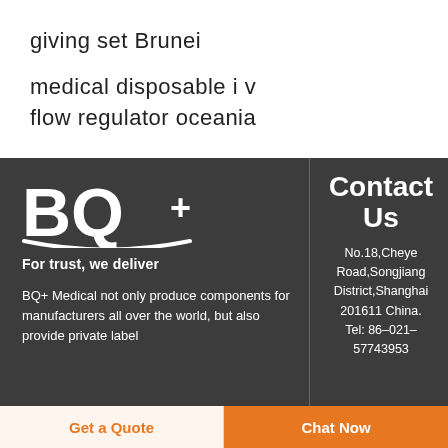giving set Brunei
medical disposable i v flow regulator oceania
[Figure (logo): BQ+ logo with tagline 'For trust, we deliver' on dark background]
BQ+ Medical not only produce components for manufacturers all over the world, but also provide private label
Contact Us
No.18,Cheye Road,Songjiang District,Shanghai 201611 China. Tel: 86-021-57743953
Get a Quote
Chat Now